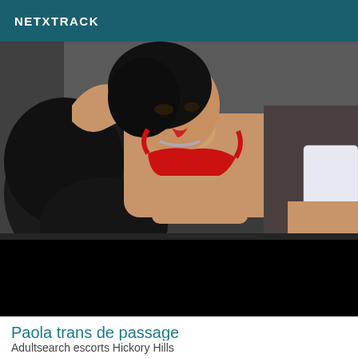NETXTRACK
[Figure (photo): A woman with dark hair lying down, wearing a red bra and white lace stocking, photographed against a dark grey background.]
Paola trans de passage
Adultsearch escorts Hickory Hills